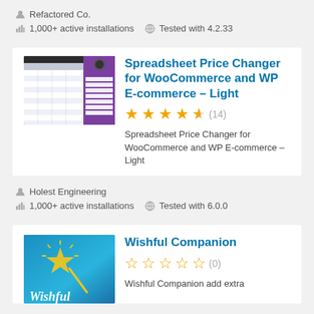Refactored Co.
1,000+ active installations   Tested with 4.2.33
Spreadsheet Price Changer for WooCommerce and WP E-commerce – Light
(14) stars rating
Spreadsheet Price Changer for WooCommerce and WP E-commerce – Light
Holest Engineering
1,000+ active installations   Tested with 6.0.0
Wishful Companion
(0) stars rating
Wishful Companion add extra